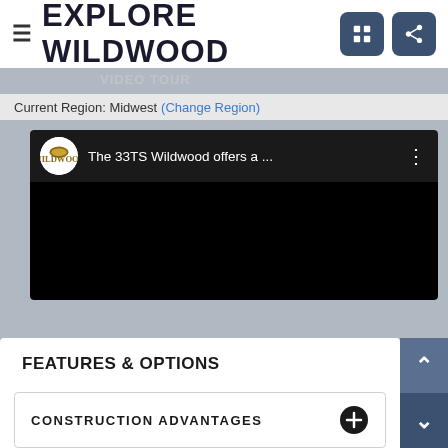☰ EXPLORE WILDWOOD
VIDEO TOUR
Current Region: Midwest (Change Region)
[Figure (screenshot): YouTube-style video player showing a black screen with title bar reading 'The 33TS Wildwood offers a ...' and a Wildwood logo avatar]
FEATURES & OPTIONS
CONSTRUCTION ADVANTAGES